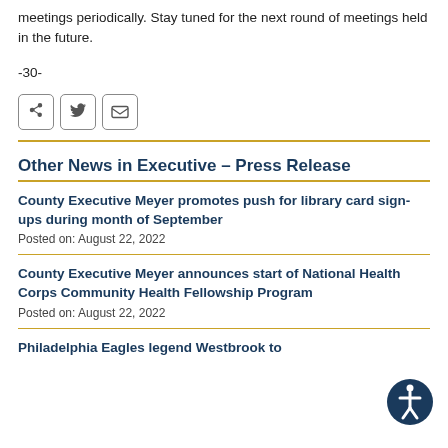meetings periodically. Stay tuned for the next round of meetings held in the future.
-30-
Other News in Executive - Press Release
County Executive Meyer promotes push for library card sign-ups during month of September
Posted on: August 22, 2022
County Executive Meyer announces start of National Health Corps Community Health Fellowship Program
Posted on: August 22, 2022
Philadelphia Eagles legend Westbrook to